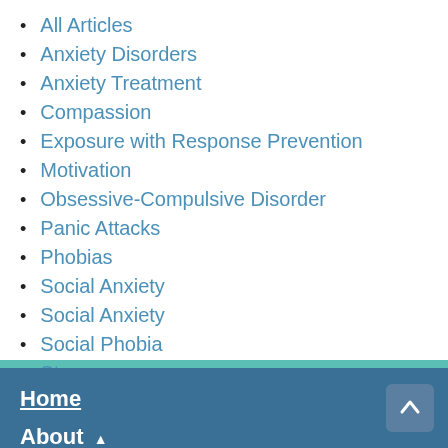All Articles
Anxiety Disorders
Anxiety Treatment
Compassion
Exposure with Response Prevention
Motivation
Obsessive-Compulsive Disorder
Panic Attacks
Phobias
Social Anxiety
Social Anxiety
Social Phobia
Stress
Uncategorized
Welcome
Worry
Home  About